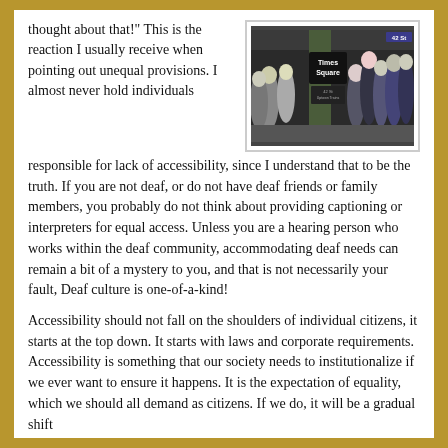thought about that!" This is the reaction I usually receive when pointing out unequal provisions. I almost never hold individuals responsible for lack of accessibility, since I understand that to be the truth. If you are not deaf, or do not have deaf friends or family members, you probably do not think about providing captioning or interpreters for equal access. Unless you are a hearing person who works within the deaf community, accommodating deaf needs can remain a bit of a mystery to you, and that is not necessarily your fault, Deaf culture is one-of-a-kind!
[Figure (photo): Photo of Times Square subway station with crowds of people walking, a Times Square sign visible on a pillar, and the 42 St sign visible in the upper right.]
Accessibility should not fall on the shoulders of individual citizens, it starts at the top down. It starts with laws and corporate requirements. Accessibility is something that our society needs to institutionalize if we ever want to ensure it happens. It is the expectation of equality, which we should all demand as citizens. If we do, it will be a gradual shift...